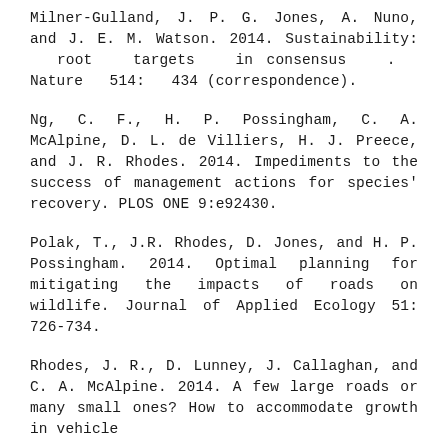Milner-Gulland, J. P. G. Jones, A. Nuno, and J. E. M. Watson. 2014. Sustainability: root targets in consensus . Nature 514: 434 (correspondence).
Ng, C. F., H. P. Possingham, C. A. McAlpine, D. L. de Villiers, H. J. Preece, and J. R. Rhodes. 2014. Impediments to the success of management actions for species' recovery. PLOS ONE 9:e92430.
Polak, T., J.R. Rhodes, D. Jones, and H. P. Possingham. 2014. Optimal planning for mitigating the impacts of roads on wildlife. Journal of Applied Ecology 51: 726-734.
Rhodes, J. R., D. Lunney, J. Callaghan, and C. A. McAlpine. 2014. A few large roads or many small ones? How to accommodate growth in vehicle...